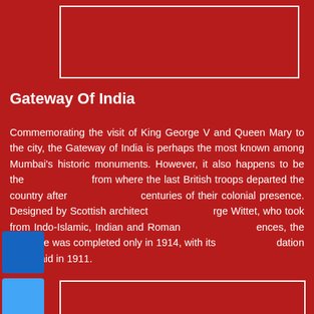[Figure (photo): Image placeholder box at top of page, white border on dark red background]
Gateway Of India
Commemorating the visit of King George V and Queen Mary to the city, the Gateway of India is perhaps the most known among Mumbai's historic monuments. However, it also happens to be the from where the last British troops departed the country after centuries of their colonial presence. Designed by Scottish architect rge Wittet, who took from Indo-Islamic, Indian and Roman ences, the structure was completed only in 1914, with its dation stone laid in 1911.
[Figure (illustration): Color swatches visible on the left side: dark blue, sky blue, red, navy blue, black]
[Figure (photo): Image placeholder box at bottom of page, white border on dark red background]